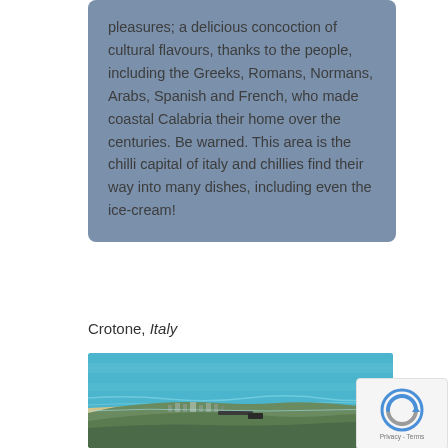pleasures; a delicious concoction of cultural flavours, thanks to the people, including the Greeks, Romans, Normans, Arabs, Spanish and French, who made coastal Calabria their home over the centuries. Be warned. This area is the chilli capital of italy and chillies find their way into many dishes, including even the ice-cream!
Crotone, Italy
[Figure (photo): Aerial or elevated photograph of Crotone, Italy, showing the coastline with blue sea, a sandy beach, a jetty or pier structure, and green hills in the background.]